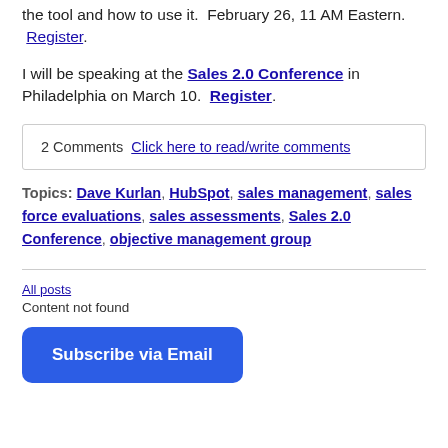the tool and how to use it.  February 26, 11 AM Eastern.  Register.
I will be speaking at the Sales 2.0 Conference in Philadelphia on March 10.  Register.
2 Comments  Click here to read/write comments
Topics: Dave Kurlan, HubSpot, sales management, sales force evaluations, sales assessments, Sales 2.0 Conference, objective management group
All posts
Content not found
Subscribe via Email